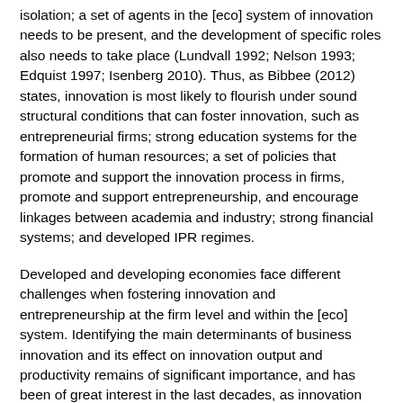isolation; a set of agents in the [eco] system of innovation needs to be present, and the development of specific roles also needs to take place (Lundvall 1992; Nelson 1993; Edquist 1997; Isenberg 2010). Thus, as Bibbee (2012) states, innovation is most likely to flourish under sound structural conditions that can foster innovation, such as entrepreneurial firms; strong education systems for the formation of human resources; a set of policies that promote and support the innovation process in firms, promote and support entrepreneurship, and encourage linkages between academia and industry; strong financial systems; and developed IPR regimes.
Developed and developing economies face different challenges when fostering innovation and entrepreneurship at the firm level and within the [eco] system. Identifying the main determinants of business innovation and its effect on innovation output and productivity remains of significant importance, and has been of great interest in the last decades, as innovation can play an important role in fostering firms' competitiveness. Understanding the key components to ignite venture creation has also been